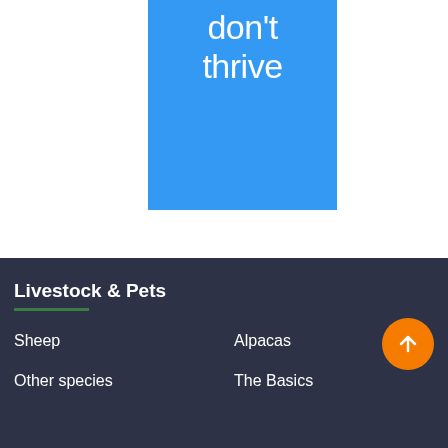[Figure (illustration): Blue rectangle with white text reading 'don't thrive' in light thin font]
Livestock & Pets
Sheep
Alpacas
Other species
The Basics